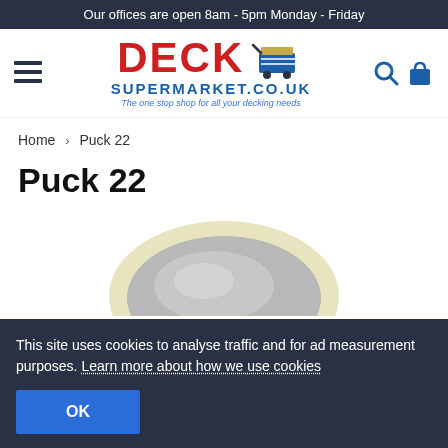Our offices are open 8am - 5pm Monday - Friday
[Figure (logo): Deck Supermarket logo with shopping cart, red DECK text, blue SUPERMARKET.CO.UK text, and tagline 'The one stop shop for all your decking needs']
Home › Puck 22
Puck 22
[Figure (photo): Top portion of a circular grey metallic puck/disc product (Puck 22) with a cream/beige rim, viewed from above]
This site uses cookies to analyse traffic and for ad measurement purposes. Learn more about how we use cookies